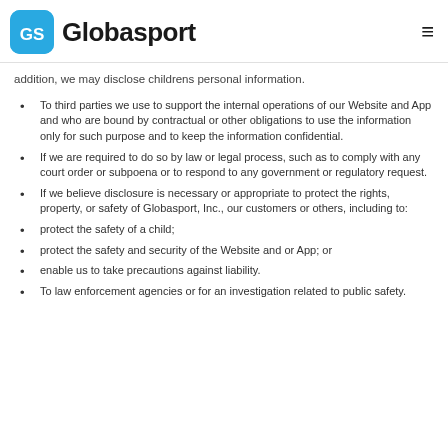Globasport
addition, we may disclose childrens personal information.
To third parties we use to support the internal operations of our Website and App and who are bound by contractual or other obligations to use the information only for such purpose and to keep the information confidential.
If we are required to do so by law or legal process, such as to comply with any court order or subpoena or to respond to any government or regulatory request.
If we believe disclosure is necessary or appropriate to protect the rights, property, or safety of Globasport, Inc., our customers or others, including to:
protect the safety of a child;
protect the safety and security of the Website and or App; or
enable us to take precautions against liability.
To law enforcement agencies or for an investigation related to public safety.